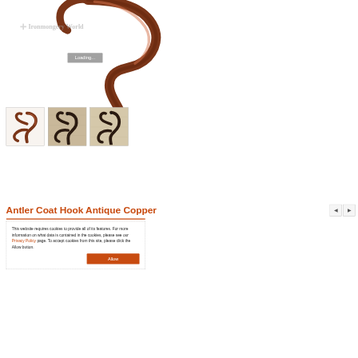[Figure (photo): Large close-up image of an antler coat hook in antique copper finish, showing curled prongs. A 'Loading...' overlay box is displayed in the center of the image. A faint watermark reading 'Ironmongery World' with a plus/cross icon is visible.]
[Figure (photo): Thumbnail 1: Antler coat hook antique copper, showing three prongs against white background.]
[Figure (photo): Thumbnail 2: Antler coat hook shown mounted on a wooden surface, dark finish, with visible screw holes.]
[Figure (photo): Thumbnail 3: Antler coat hook shown on a wooden surface from a slightly different angle, dark finish.]
Antler Coat Hook Antique Copper
This website requires cookies to provide all of its features. For more information on what data is contained in the cookies, please see our Privacy Policy page. To accept cookies from this site, please click the Allow button.